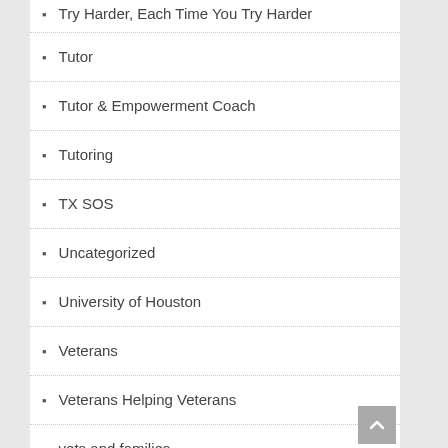Try Harder, Each Time You Try Harder
Tutor
Tutor & Empowerment Coach
Tutoring
TX SOS
Uncategorized
University of Houston
Veterans
Veterans Helping Veterans
vets and families
webcasting
WKT prep
Written Exam
Written Knowledge Test